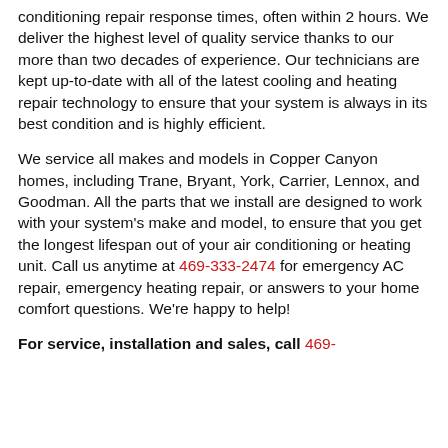conditioning repair response times, often within 2 hours. We deliver the highest level of quality service thanks to our more than two decades of experience. Our technicians are kept up-to-date with all of the latest cooling and heating repair technology to ensure that your system is always in its best condition and is highly efficient.
We service all makes and models in Copper Canyon homes, including Trane, Bryant, York, Carrier, Lennox, and Goodman. All the parts that we install are designed to work with your system's make and model, to ensure that you get the longest lifespan out of your air conditioning or heating unit. Call us anytime at 469-333-2474 for emergency AC repair, emergency heating repair, or answers to your home comfort questions. We're happy to help!
For service, installation and sales, call 469-